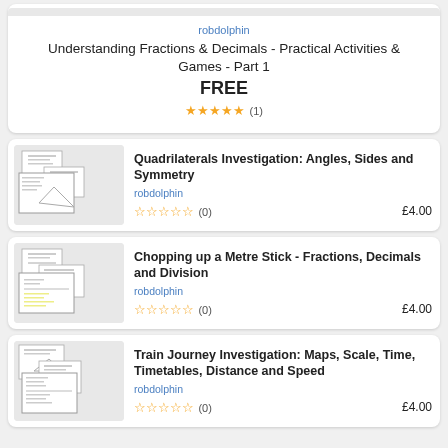robdolphin
Understanding Fractions & Decimals - Practical Activities & Games - Part 1
FREE
★★★★★ (1)
Quadrilaterals Investigation: Angles, Sides and Symmetry
robdolphin
☆☆☆☆☆ (0) £4.00
Chopping up a Metre Stick - Fractions, Decimals and Division
robdolphin
☆☆☆☆☆ (0) £4.00
Train Journey Investigation: Maps, Scale, Time, Timetables, Distance and Speed
robdolphin
☆☆☆☆☆ (0) £4.00